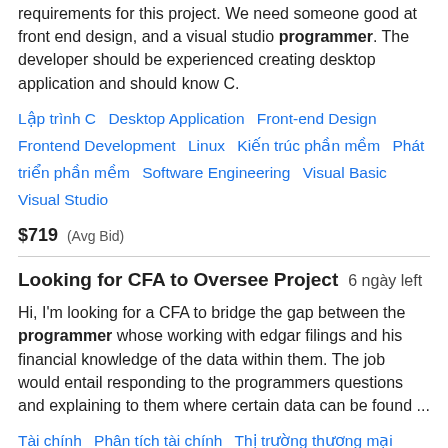requirements for this project. We need someone good at front end design, and a visual studio programmer. The developer should be experienced creating desktop application and should know C.
Lập trình C   Desktop Application   Front-end Design   Frontend Development   Linux   Kiến trúc phần mềm   Phát triển phần mềm   Software Engineering   Visual Basic   Visual Studio
$719  (Avg Bid)
Looking for CFA to Oversee Project   6 ngày left
Hi, I'm looking for a CFA to bridge the gap between the programmer whose working with edgar filings and his financial knowledge of the data within them. The job would entail responding to the programmers questions and explaining to them where certain data can be found ...
Tài chính   Phân tích tài chính   Thị trường thương mại   Nghiên cứu tài chính